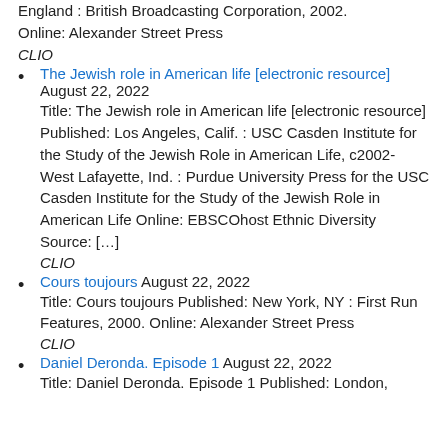England : British Broadcasting Corporation, 2002. Online: Alexander Street Press
CLIO
The Jewish role in American life [electronic resource] August 22, 2022
Title: The Jewish role in American life [electronic resource] Published: Los Angeles, Calif. : USC Casden Institute for the Study of the Jewish Role in American Life, c2002- West Lafayette, Ind. : Purdue University Press for the USC Casden Institute for the Study of the Jewish Role in American Life Online: EBSCOhost Ethnic Diversity Source: […]
CLIO
Cours toujours August 22, 2022
Title: Cours toujours Published: New York, NY : First Run Features, 2000. Online: Alexander Street Press
CLIO
Daniel Deronda. Episode 1 August 22, 2022
Title: Daniel Deronda. Episode 1 Published: London,